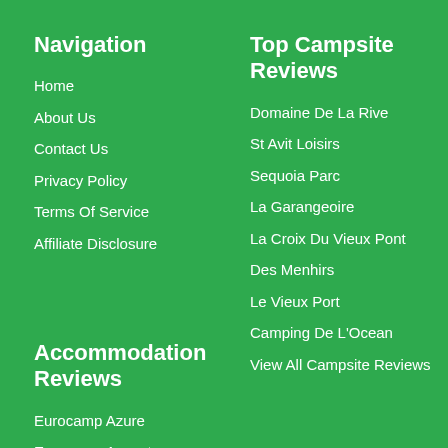Navigation
Home
About Us
Contact Us
Privacy Policy
Terms Of Service
Affiliate Disclosure
Top Campsite Reviews
Domaine De La Rive
St Avit Loisirs
Sequoia Parc
La Garangeoire
La Croix Du Vieux Pont
Des Menhirs
Le Vieux Port
Camping De L'Ocean
View All Campsite Reviews
Accommodation Reviews
Eurocamp Azure
Eurocamp Aspect